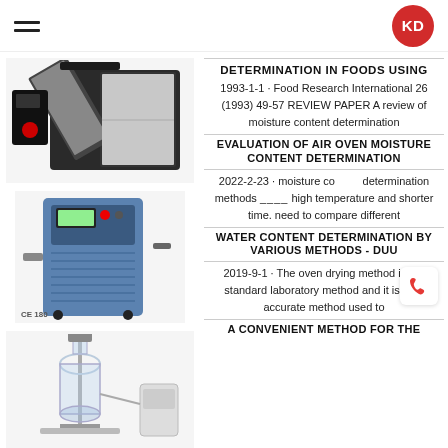KD logo and hamburger menu
[Figure (photo): Laboratory moisture oven equipment with open door showing interior]
DETERMINATION IN FOODS USING 1993-1-1 · Food Research International 26 (1993) 49-57 REVIEW PAPER A review of moisture content determination
EVALUATION OF AIR OVEN MOISTURE CONTENT DETERMINATION
[Figure (photo): Blue industrial cooling or climate control unit with control panel, CE ISO certified]
2022-2-23 · moisture content determination methods using high temperature and shorter time. need to compare different
WATER CONTENT DETERMINATION BY VARIOUS METHODS - DUU
[Figure (photo): Glass reactor laboratory equipment setup with associated components]
2019-9-1 · The oven drying method is the standard laboratory method and it is very accurate method used to
A CONVENIENT METHOD FOR THE